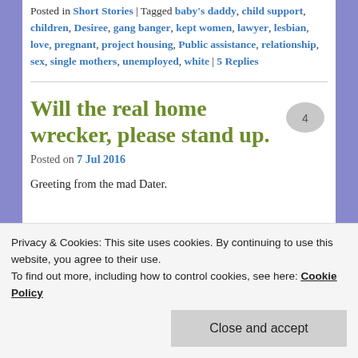Posted in Short Stories | Tagged baby's daddy, child support, children, Desiree, gang banger, kept women, lawyer, lesbian, love, pregnant, project housing, Public assistance, relationship, sex, single mothers, unemployed, white | 5 Replies
Will the real home wrecker, please stand up.
Posted on 7 Jul 2016
Greeting from the mad Dater.
Privacy & Cookies: This site uses cookies. By continuing to use this website, you agree to their use. To find out more, including how to control cookies, see here: Cookie Policy
profiles should not be married.